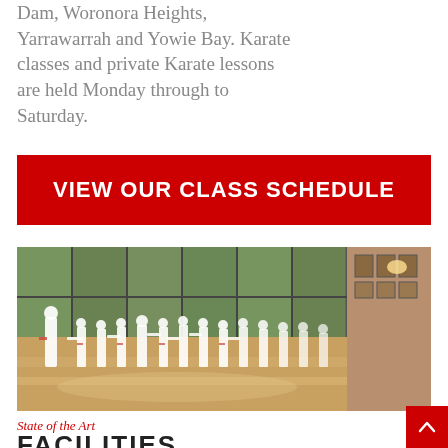Dam, Woronora Heights, Yarrawarrah and Yowie Bay. Karate classes and private Karate lessons are held Monday through to Saturday.
VIEW OUR CLASS SCHEDULE
[Figure (photo): Children in white karate gi uniforms practicing karate in a dojo with large windows and a wooden floor.]
State of the Art
FACILITIES